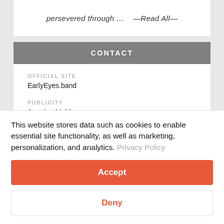persevered through … —Read All—
CONTACT
OFFICIAL SITE
EarlyEyes.band
PUBLICITY
Jasmine Muldrow
LICENSING
This website stores data such as cookies to enable essential site functionality, as well as marketing, personalization, and analytics. Privacy Policy
Accept
Deny